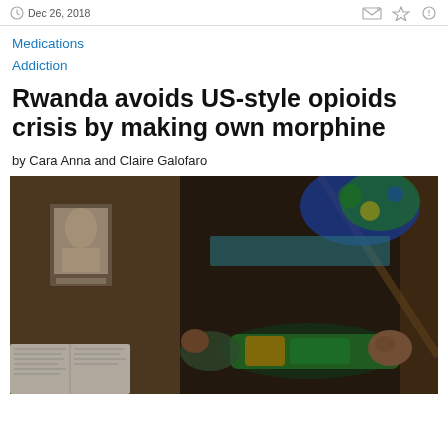Dec 26, 2018
Medications
Addiction
Rwanda avoids US-style opioids crisis by making own morphine
by Cara Anna and Claire Galofaro
[Figure (photo): Dark interior of a small dwelling showing a person lying on a bed/mat in colorful clothing, with a framed religious portrait on a mud wall and an open book/newspaper nearby. Colorful patterned fabric hangs in the background.]